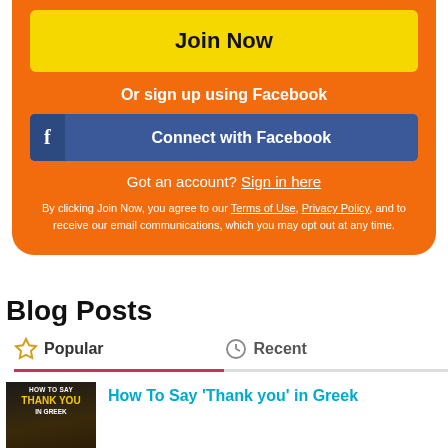Join Now
Or sign up using Facebook
Connect with Facebook
Got an account? Sign in here
By clicking Join Now, you agree to our Terms of Use, Privacy Policy, and to receive our email communications, which you may opt out at any time.
Blog Posts
Popular
Recent
How To Say ‘Thank you’ in Greek